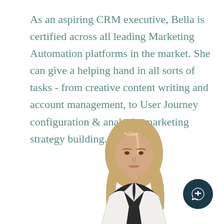As an aspiring CRM executive, Bella is certified across all leading Marketing Automation platforms in the market. She can give a helping hand in all sorts of tasks - from creative content writing and account management, to User Journey configuration & analysis, marketing strategy building.
[Figure (photo): Photo of a young woman with long wavy blonde-highlighted hair wearing a white blazer over a dark top, photographed from the waist up against a white background]